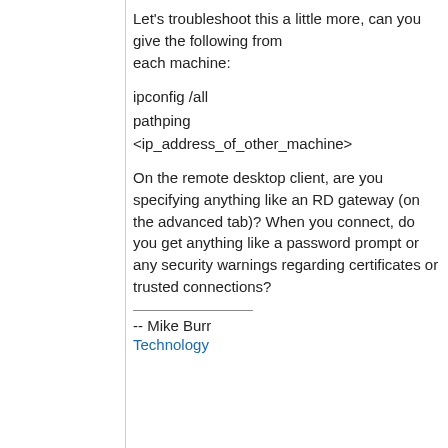Let's troubleshoot this a little more, can you give the following from each machine:
ipconfig /all
pathping
<ip_address_of_other_machine>
On the remote desktop client, are you specifying anything like an RD gateway (on the advanced tab)? When you connect, do you get anything like a password prompt or any security warnings regarding certificates or trusted connections?
-- Mike Burr
Technology